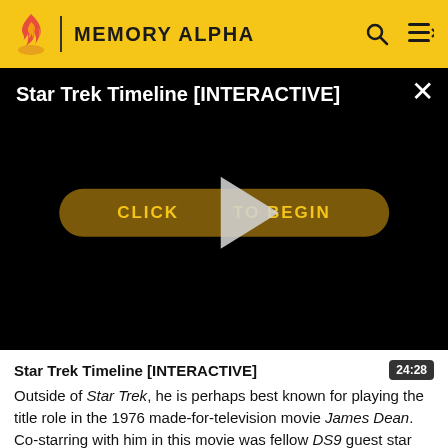MEMORY ALPHA
[Figure (screenshot): Video player with black background showing 'Star Trek Timeline [INTERACTIVE]' title, a play button triangle overlay, and a dark gold rounded 'CLICK TO BEGIN' button. A white X close button is in the top right.]
Star Trek Timeline [INTERACTIVE]
Outside of Star Trek, he is perhaps best known for playing the title role in the 1976 made-for-television movie James Dean. Co-starring with him in this movie was fellow DS9 guest star Meg Foster, whom he ultimately married.